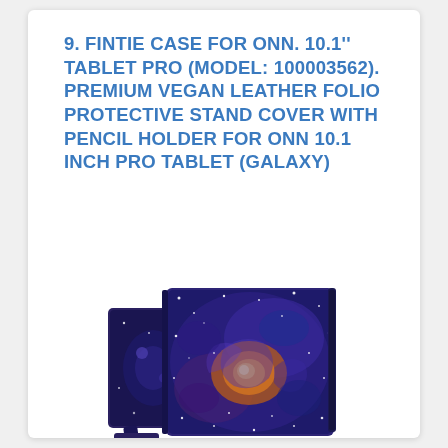9. FINTIE CASE FOR ONN. 10.1'' TABLET PRO (MODEL: 100003562). PREMIUM VEGAN LEATHER FOLIO PROTECTIVE STAND COVER WITH PENCIL HOLDER FOR ONN 10.1 INCH PRO TABLET (GALAXY)
[Figure (photo): Product photo of a Fintie folio case for ONN 10.1 inch Pro tablet in Galaxy design, showing the case open and standing upright with a galaxy/nebula pattern on the cover, in purple and orange tones.]